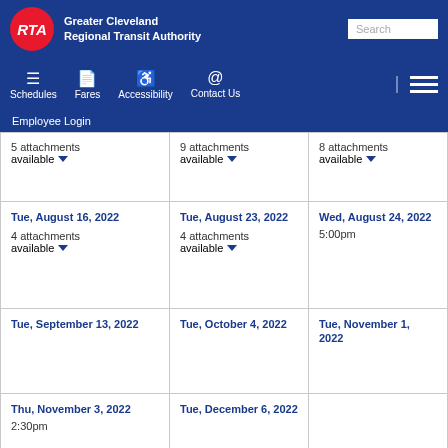Greater Cleveland Regional Transit Authority
| 5 attachments available | 9 attachments available | 8 attachments available |
| Tue, August 16, 2022
4 attachments available | Tue, August 23, 2022
4 attachments available | Wed, August 24, 2022
5:00pm |
| Tue, September 13, 2022 | Tue, October 4, 2022 | Tue, November 1, 2022 |
| Thu, November 3, 2022
2:30pm | Tue, December 6, 2022 |  |